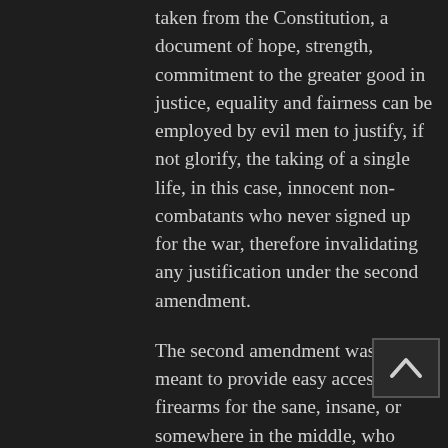taken from the Constitution, a document of hope, strength, commitment to the greater good in justice, equality and fairness can be employed by evil men to justify, if not glorify, the taking of a single life, in this case, innocent non-combatants who never signed up for the war, therefore invalidating any justification under the second amendment.
The second amendment was never meant to provide easy access to firearms for the sane, insane, or somewhere in the middle, who would use them to commit random acts of violence, killing and death so “patriots” waiting for the uprising, the insurrection, the revolution, will be ready for their day with their